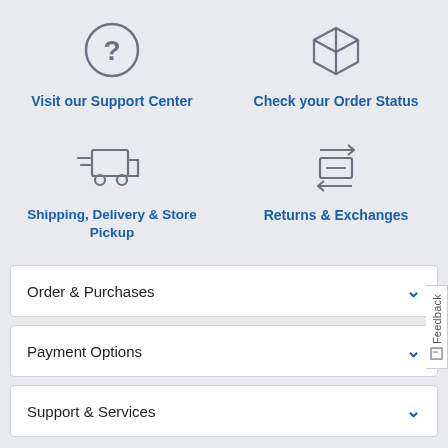[Figure (illustration): Question mark circle icon (support center)]
Visit our Support Center
[Figure (illustration): Box/package icon (order status)]
Check your Order Status
[Figure (illustration): Delivery truck icon with speed lines]
Shipping, Delivery & Store Pickup
[Figure (illustration): Two-way arrows with rectangle icon (returns & exchanges)]
Returns & Exchanges
Order & Purchases
Payment Options
Support & Services